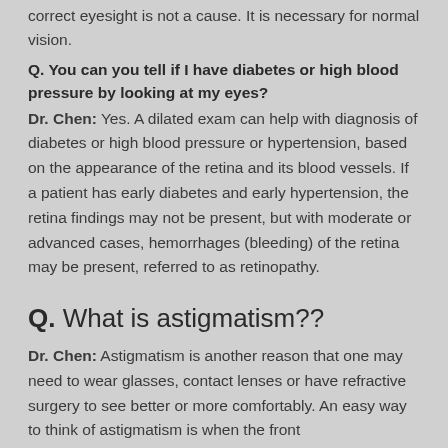correct eyesight is not a cause. It is necessary for normal vision.
Q. You can you tell if I have diabetes or high blood pressure by looking at my eyes?
Dr. Chen: Yes. A dilated exam can help with diagnosis of diabetes or high blood pressure or hypertension, based on the appearance of the retina and its blood vessels. If a patient has early diabetes and early hypertension, the retina findings may not be present, but with moderate or advanced cases, hemorrhages (bleeding) of the retina may be present, referred to as retinopathy.
Q. What is astigmatism??
Dr. Chen: Astigmatism is another reason that one may need to wear glasses, contact lenses or have refractive surgery to see better or more comfortably. An easy way to think of astigmatism is when the front